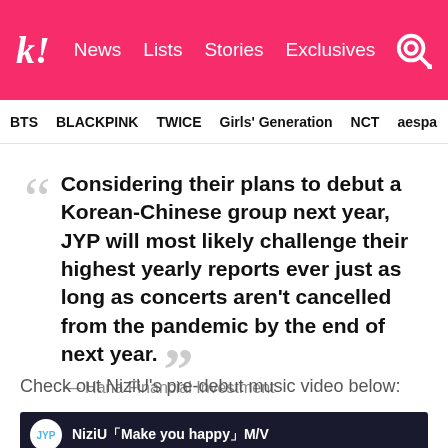Koreaboo — News | Lists | Stories | Exclusives
BTS   BLACKPINK   TWICE   Girls' Generation   NCT   aespa
Considering their plans to debut a Korean-Chinese group next year, JYP will most likely challenge their highest yearly reports ever just as long as concerts aren't cancelled from the pandemic by the end of next year.
— Hana Financial Investment
Check out NiziU's pre-debut music video below:
[Figure (screenshot): Video thumbnail showing NiziU 'Make you happy' M/V with JYPn logo]